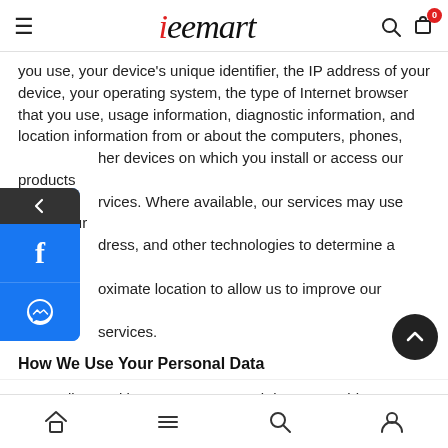teemart
you use, your device's unique identifier, the IP address of your device, your operating system, the type of Internet browser that you use, usage information, diagnostic information, and location information from or about the computers, phones, other devices on which you install or access our products services. Where available, our services may use GPS, your dress, and other technologies to determine a device's oximate location to allow us to improve our products services.
How We Use Your Personal Data
Generally speaking, we use personal data to provide, improve, and develop our products and services, to